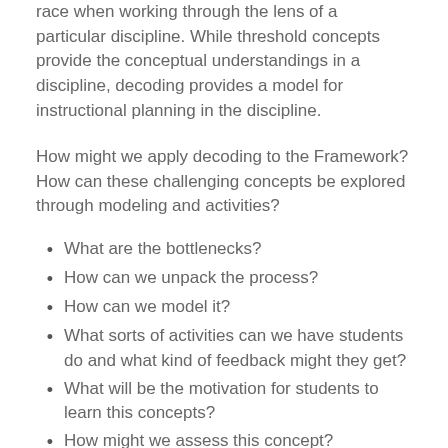race when working through the lens of a particular discipline. While threshold concepts provide the conceptual understandings in a discipline, decoding provides a model for instructional planning in the discipline.
How might we apply decoding to the Framework? How can these challenging concepts be explored through modeling and activities?
What are the bottlenecks?
How can we unpack the process?
How can we model it?
What sorts of activities can we have students do and what kind of feedback might they get?
What will be the motivation for students to learn this concepts?
How might we assess this concept?